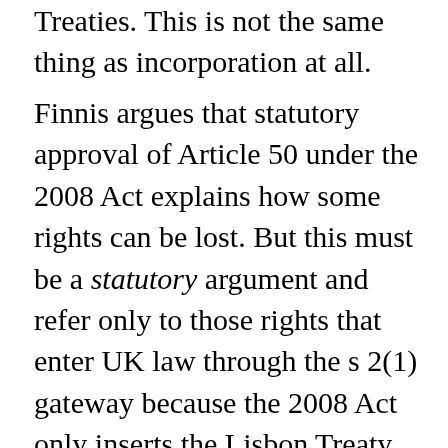Treaties. This is not the same thing as incorporation at all.
Finnis argues that statutory approval of Article 50 under the 2008 Act explains how some rights can be lost. But this must be a statutory argument and refer only to those rights that enter UK law through the s 2(1) gateway because the 2008 Act only inserts the Lisbon Treaty into the ECA. It is difficult to see how prerogative power could be relevant and even more difficult to see how the 2002 Act could be affected. The insertion of Article 50 into the ECA arguably alters the purpose of the ECA as set out in the long title such that s 2(1) provides a conduit to various Category 1 and 2 rights unless the UK decides to leave the EU. I make this point at length elsewhere. However, rearranging the Category 1 and 2 deckchairs on the Titanic entirely misses the